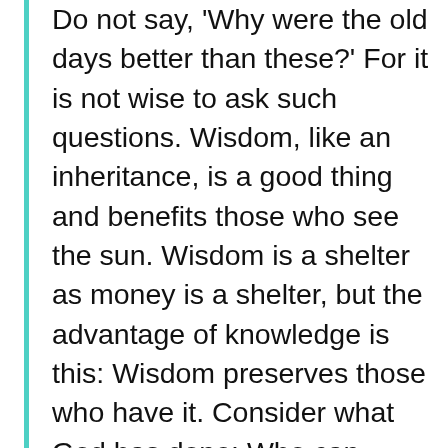Do not say, 'Why were the old days better than these?' For it is not wise to ask such questions. Wisdom, like an inheritance, is a good thing and benefits those who see the sun. Wisdom is a shelter as money is a shelter, but the advantage of knowledge is this: Wisdom preserves those who have it. Consider what God has done: Who can straighten what he has made crooked? When times are good, be happy; but when times are bad, consider